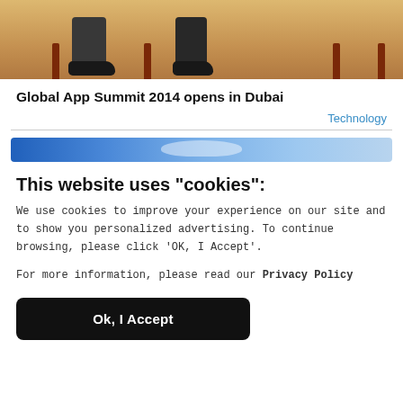[Figure (photo): Photo strip showing legs and feet of seated people on a wooden floor with red/brown chair legs visible]
Global App Summit 2014 opens in Dubai
Technology
[Figure (photo): Blue banner/advertisement strip with cloud imagery]
This website uses "cookies":
We use cookies to improve your experience on our site and to show you personalized advertising. To continue browsing, please click ‘OK, I Accept’.
For more information, please read our Privacy Policy
Ok, I Accept